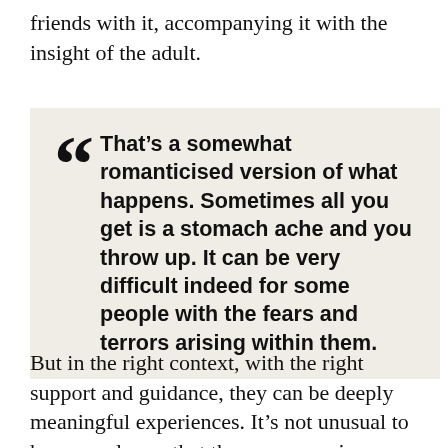friends with it, accompanying it with the insight of the adult.
That’s a somewhat romanticised version of what happens. Sometimes all you get is a stomach ache and you throw up. It can be very difficult indeed for some people with the fears and terrors arising within them.
But in the right context, with the right support and guidance, they can be deeply meaningful experiences. It’s not unusual to hear people say that those ceremonies gave me more than 10